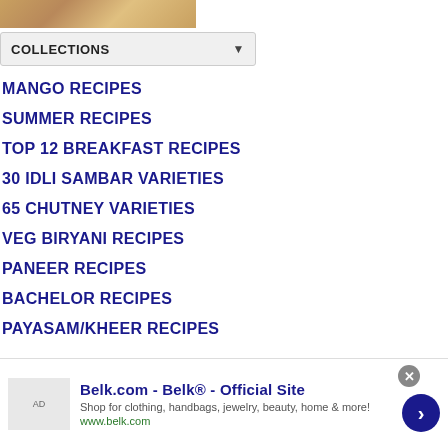[Figure (photo): Partial photo strip showing food/wood surface at top left]
COLLECTIONS
MANGO RECIPES
SUMMER RECIPES
TOP 12 BREAKFAST RECIPES
30 IDLI SAMBAR VARIETIES
65 CHUTNEY VARIETIES
VEG BIRYANI RECIPES
PANEER RECIPES
BACHELOR RECIPES
PAYASAM/KHEER RECIPES
Belk.com - Belk® - Official Site
Shop for clothing, handbags, jewelry, beauty, home & more!
www.belk.com